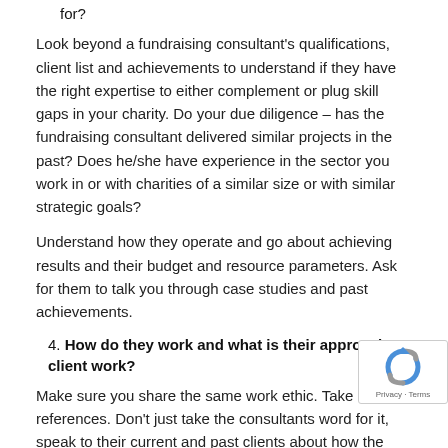for?
Look beyond a fundraising consultant's qualifications, client list and achievements to understand if they have the right expertise to either complement or plug skill gaps in your charity. Do your due diligence – has the fundraising consultant delivered similar projects in the past? Does he/she have experience in the sector you work in or with charities of a similar size or with similar strategic goals?
Understand how they operate and go about achieving results and their budget and resource parameters. Ask for them to talk you through case studies and past achievements.
4. How do they work and what is their approach to client work?
Make sure you share the same work ethic. Take references. Don't just take the consultants word for it, speak to their current and past clients about how the consultant embeds themselves in client work/the client's organisation.
Ask the...